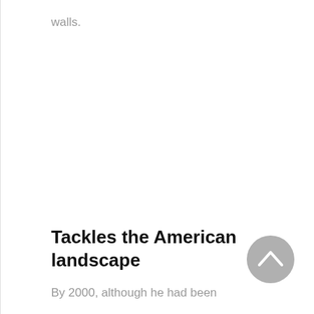walls.
Tackles the American landscape
[Figure (other): Circular grey back-to-top button with upward chevron arrow]
By 2000, although he had been